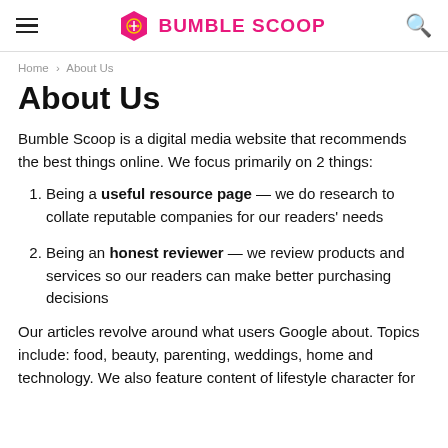BUMBLE SCOOP
Home › About Us
About Us
Bumble Scoop is a digital media website that recommends the best things online. We focus primarily on 2 things:
Being a useful resource page — we do research to collate reputable companies for our readers' needs
Being an honest reviewer — we review products and services so our readers can make better purchasing decisions
Our articles revolve around what users Google about. Topics include: food, beauty, parenting, weddings, home and technology. We also feature content of lifestyle character for